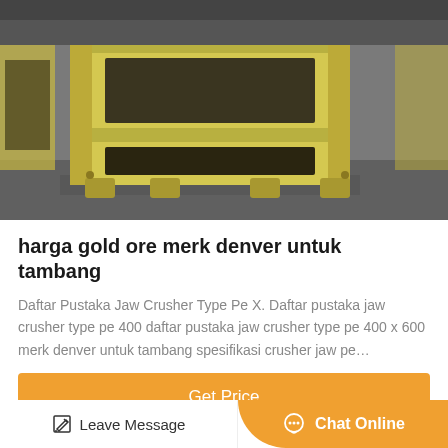[Figure (photo): Yellow jaw crusher machine photographed in an industrial warehouse setting]
harga gold ore merk denver untuk tambang
Daftar Pustaka Jaw Crusher Type Pe X. Daftar pustaka jaw crusher type pe 400 daftar pustaka jaw crusher type pe 400 x 600 merk denver untuk tambang spesifikasi crusher jaw pe…
Get Price
[Figure (photo): Industrial equipment shelving or grating photographed in a warehouse]
Leave Message
Chat Online